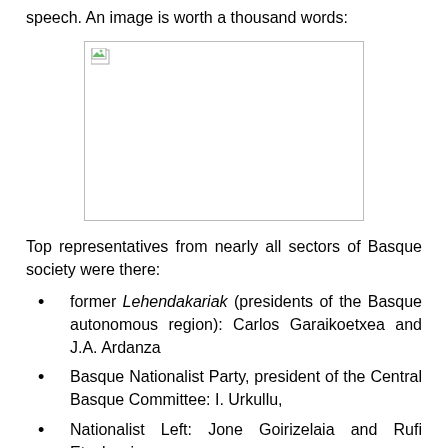speech. An image is worth a thousand words:
[Figure (photo): Broken/missing image placeholder (image failed to load)]
Top representatives from nearly all sectors of Basque society were there:
former Lehendakariak (presidents of the Basque autonomous region): Carlos Garaikoetxea and J.A. Ardanza
Basque Nationalist Party, president of the Central Basque Committee: I. Urkullu,
Nationalist Left: Jone Goirizelaia and Rufi Etxeberria
Minor parties: Eusko Alkartasuna's secretary general, Pello Urizar, United Left's coordinator